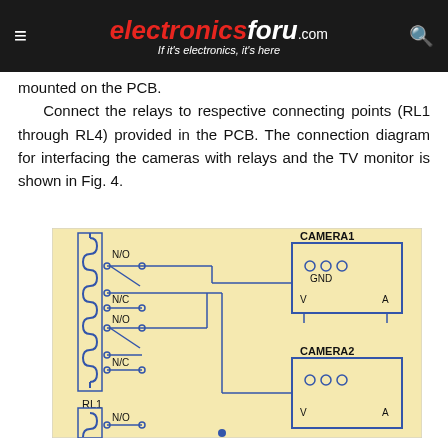electronicsforu.com — If it's electronics, it's here
mounted on the PCB.
Connect the relays to respective connecting points (RL1 through RL4) provided in the PCB. The connection diagram for interfacing the cameras with relays and the TV monitor is shown in Fig. 4.
[Figure (circuit-diagram): Circuit diagram showing relay connections (RL1 with N/O, N/C contacts) interfacing with CAMERA1 and CAMERA2. Each camera connector shows GND, V, and A terminals. A second relay (RL2) is partially shown at the bottom with N/O contact. Blue wiring connects relay contacts to camera connectors.]